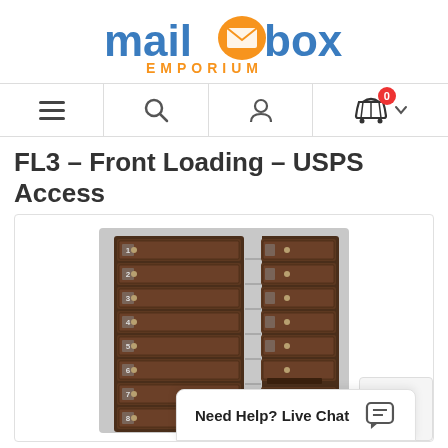[Figure (logo): Mailbox Emporium logo with blue 'mailbox' text, orange envelope icon, orange 'EMPORIUM' text, and blue phone number 888-352-9194]
[Figure (screenshot): Navigation bar with hamburger menu, search icon, user/account icon, and shopping cart icon with badge showing 0]
FL3 – Front Loading – USPS Access
[Figure (photo): Product photo of a bronze/dark brown front-loading USPS access mailbox unit with multiple compartments and numbered doors, partially open showing interior shelves]
Need Help? Live Chat